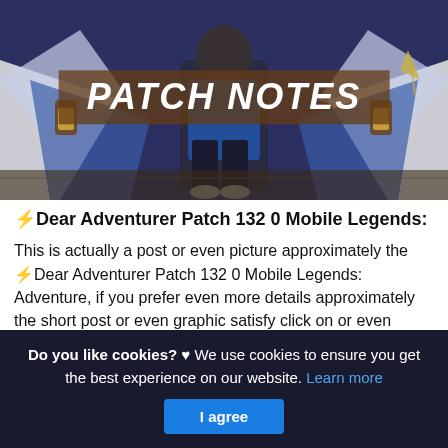[Figure (illustration): Hero banner image for Mobile Legends patch notes, showing a game character with wings spread. Text overlay reads 'PATCH NOTES' in bold italic white letters on a brown semi-transparent banner.]
⚡Dear Adventurer Patch 132 0 Mobile Legends:
This is actually a post or even picture approximately the ⚡Dear Adventurer Patch 132 0 Mobile Legends: Adventure, if you prefer even more details approximately the short post or even graphic satisfy click on or even check out the complying with web link or even web link .
(Read More)
Do you like cookies? ♥ We use cookies to ensure you get the best experience on our website. Learn more
I agree